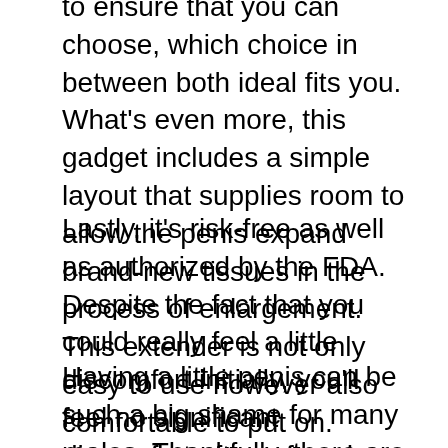to ensure that you can choose, which choice in between both ideal fits you. What's even more, this gadget includes a simple layout that supplies room to allow the penis expand brand-new tissues in the process of enlargement. This extender is not only easy to use however also comfortable to put on.
Lastly, it's risk-free as well as authorized by the FDA. Despite the fact that you could really feel a little discomfort initially, you'll feel no significant discomfort after a few days as you continue to utilize this medical gadget.
Having a little penis can be such a big shame for many males. Thankfully, there are several techniques that can aid enlarge the